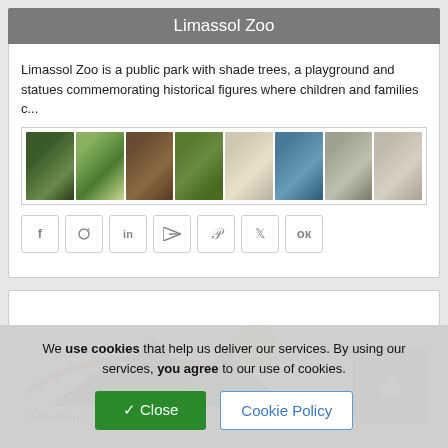Limassol Zoo
Limassol Zoo is a public park with shade trees, a playground and statues commemorating historical figures where children and families c...
[Figure (photo): Strip of 8 thumbnail photos showing various scenes from Limassol Zoo including trees, animals, water birds, and landscape views]
[Figure (logo): Adventure park logo with green mountain/landscape silhouette, orange swoosh, and yellow sun graphic]
We use cookies that help us deliver our services. By using our services, you agree to our use of cookies.